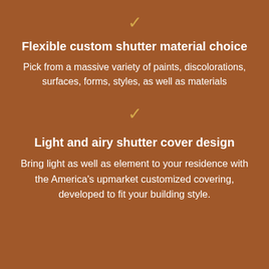[Figure (illustration): Gold/tan checkmark icon]
Flexible custom shutter material choice
Pick from a massive variety of paints, discolorations, surfaces, forms, styles, as well as materials
[Figure (illustration): Gold/tan checkmark icon]
Light and airy shutter cover design
Bring light as well as element to your residence with the America's upmarket customized covering, developed to fit your building style.